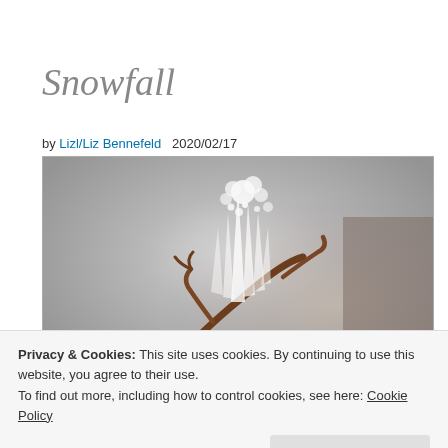Snowfall
by Lizl/Liz Bennefeld   2020/02/17
[Figure (photo): Macro close-up photograph of a dried brown plant stem or seed with intricate white ice crystals / snowflake formation on it, against a blurred grey winter background.]
Privacy & Cookies: This site uses cookies. By continuing to use this website, you agree to their use.
To find out more, including how to control cookies, see here: Cookie Policy
Close and accept